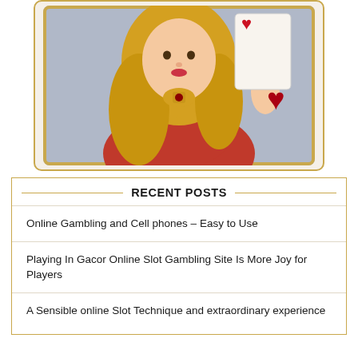[Figure (illustration): Animated illustration of a blonde woman in red dress holding playing card hearts, with gold border, slot game style artwork]
RECENT POSTS
Online Gambling and Cell phones – Easy to Use
Playing In Gacor Online Slot Gambling Site Is More Joy for Players
A Sensible online Slot Technique and extraordinary experience